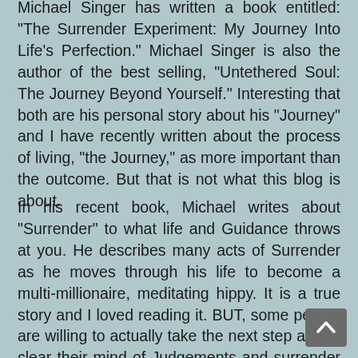Michael Singer has written a book entitled: "The Surrender Experiment: My Journey Into Life's Perfection." Michael Singer is also the author of the best selling, "Untethered Soul: The Journey Beyond Yourself." Interesting that both are his personal story about his "Journey" and I have recently written about the process of living, "the Journey," as more important than the outcome. But that is not what this blog is about.
In his recent book, Michael writes about "Surrender" to what life and Guidance throws at you. He describes many acts of Surrender as he moves through his life to become a multi-millionaire, meditating hippy. It is a true story and I loved reading it. BUT, some people are willing to actually take the next step and to clear their mind of Judgements and surrender to what Guidance throws at them. My friend and mentor, Rodger Ruge, and I engaged in this experiment. In our own way, we are taking what presents itself (from "Guidance") then agreeing to work on these projects to the best we can do